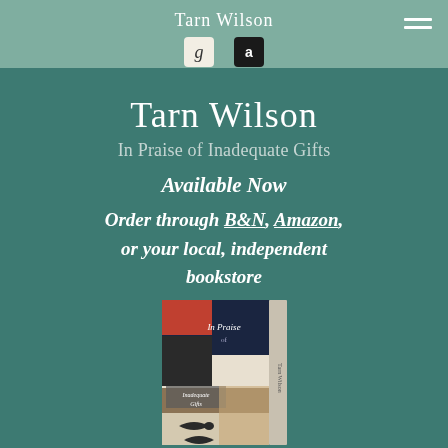Tarn Wilson
[Figure (screenshot): Website navigation bar with Goodreads and Amazon icons and hamburger menu]
Tarn Wilson
In Praise of Inadequate Gifts
Available Now
Order through B&N, Amazon, or your local, independent bookstore
[Figure (photo): Book cover of 'In Praise of Inadequate Gifts' showing a collage of vintage photographs, postcards, and illustrations including a fish]